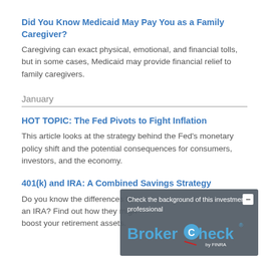Did You Know Medicaid May Pay You as a Family Caregiver?
Caregiving can exact physical, emotional, and financial tolls, but in some cases, Medicaid may provide financial relief to family caregivers.
January
HOT TOPIC: The Fed Pivots to Fight Inflation
This article looks at the strategy behind the Fed's monetary policy shift and the potential consequences for consumers, investors, and the economy.
401(k) and IRA: A Combined Savings Strategy
Do you know the differences between a 401(k) and an IRA? Find out how they might work together to boost your retirement assets.
[Figure (other): BrokerCheck overlay widget by FINRA with text 'Check the background of this investment professional' and BrokerCheck logo]